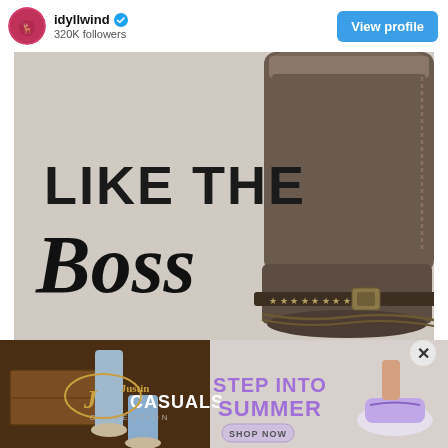idyllwind · 320K followers · View profile
[Figure (photo): Instagram post from idyllwind showing a tall brown leather cowboy boot with star-studded buckle straps, overlaid with text 'LIKE THE Boss' on a beige fabric background]
[Figure (photo): Advertisement for Justin Casuals Collection 'Step Into Summer' showing people wearing casual shoes and sneakers, with a 'SHOP NOW' button]